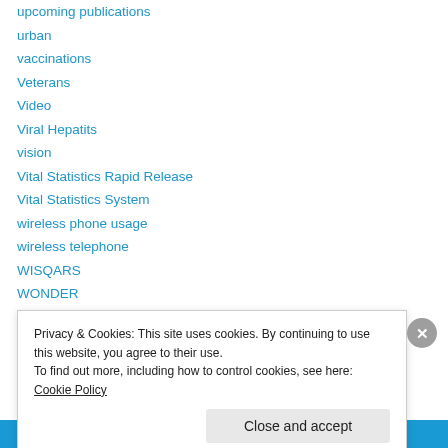upcoming publications
urban
vaccinations
Veterans
Video
Viral Hepatits
vision
Vital Statistics Rapid Release
Vital Statistics System
wireless phone usage
wireless telephone
WISQARS
WONDER
YRR TR
Privacy & Cookies: This site uses cookies. By continuing to use this website, you agree to their use. To find out more, including how to control cookies, see here: Cookie Policy
Close and accept